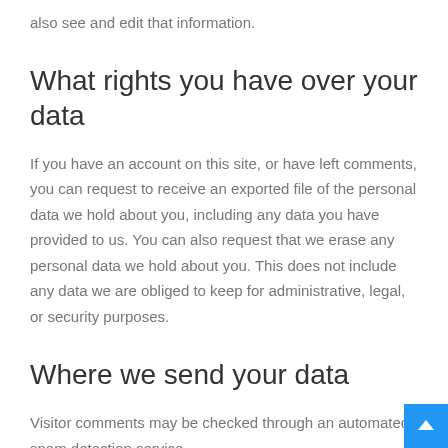also see and edit that information.
What rights you have over your data
If you have an account on this site, or have left comments, you can request to receive an exported file of the personal data we hold about you, including any data you have provided to us. You can also request that we erase any personal data we hold about you. This does not include any data we are obliged to keep for administrative, legal, or security purposes.
Where we send your data
Visitor comments may be checked through an automated spam detection service.